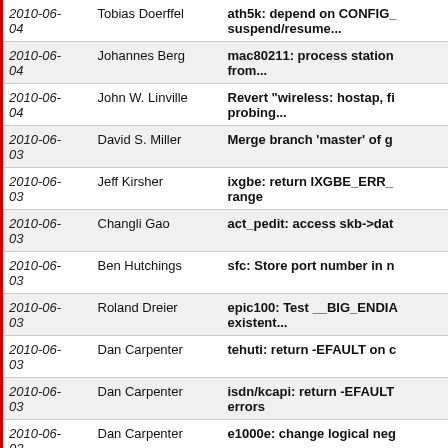| Date | Author | Commit Message |
| --- | --- | --- |
| 2010-06-04 | Tobias Doerffel | ath5k: depend on CONFIG_ suspend/resume... |
| 2010-06-04 | Johannes Berg | mac80211: process station from... |
| 2010-06-04 | John W. Linville | Revert "wireless: hostap, fi probing... |
| 2010-06-03 | David S. Miller | Merge branch 'master' of g |
| 2010-06-03 | Jeff Kirsher | ixgbe: return IXGBE_ERR_ range |
| 2010-06-03 | Changli Gao | act_pedit: access skb->dat |
| 2010-06-03 | Ben Hutchings | sfc: Store port number in n |
| 2010-06-03 | Roland Dreier | epic100: Test __BIG_ENDIA existent... |
| 2010-06-03 | Dan Carpenter | tehuti: return -EFAULT on c |
| 2010-06-03 | Dan Carpenter | isdn/kcapi: return -EFAULT errors |
| 2010-06-03 | Dan Carpenter | e1000e: change logical neg |